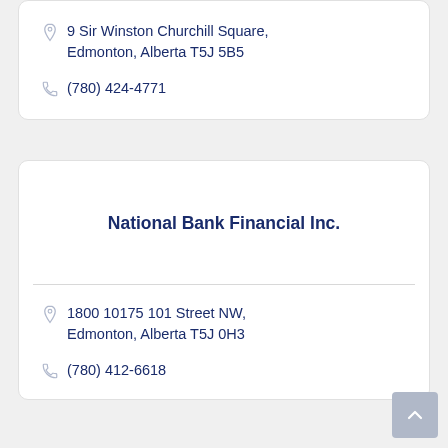9 Sir Winston Churchill Square, Edmonton, Alberta T5J 5B5
(780) 424-4771
National Bank Financial Inc.
1800 10175 101 Street NW, Edmonton, Alberta T5J 0H3
(780) 412-6618